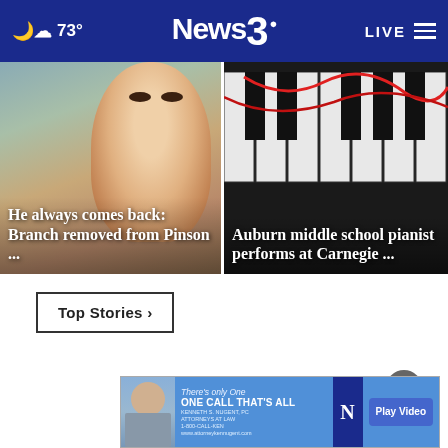73° News3 LIVE
[Figure (photo): Close-up photo of a young boy's face with headline overlay: He always comes back: Branch removed from Pinson ...]
[Figure (photo): Dark photo of piano keys with headline overlay: Auburn middle school pianist performs at Carnegie ...]
Top Stories ›
[Figure (photo): Partial photo of person(s) at bottom of page with close button (×)]
[Figure (advertisement): Ad banner: There's only One ONE CALL THAT'S ALL, Kenneth S. Nugent, Inc. attorney at law, 1-800-CALL-KEN, Play Video button]